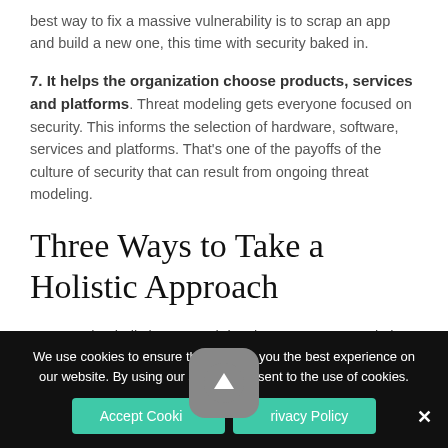best way to fix a massive vulnerability is to scrap an app and build a new one, this time with security baked in.
7. It helps the organization choose products, services and platforms. Threat modeling gets everyone focused on security. This informs the selection of hardware, software, services and platforms. That's one of the payoffs of the culture of security that can result from ongoing threat modeling.
Three Ways to Take a Holistic Approach
In general, a holistic approach involves as many people in the organization as possible. Here's how to do it:
We use cookies to ensure that we give you the best experience on our website. By using our site you consent to the use of cookies.
Accept Cookies   Privacy Policy